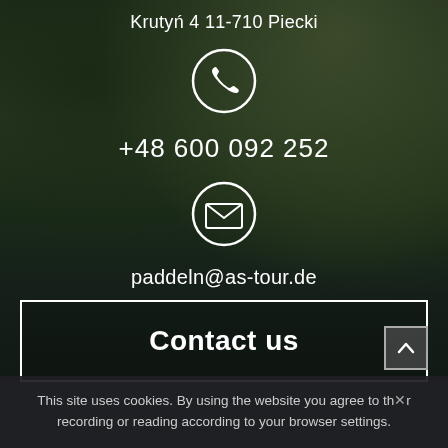Krutyń 4 11-710 Piecki
[Figure (illustration): White circle icon with phone receiver symbol]
+48 600 092 252
[Figure (illustration): White circle icon with envelope/email symbol]
paddeln@as-tour.de
Contact us
This site uses cookies. By using the website you agree to the recording or reading according to your browser settings.